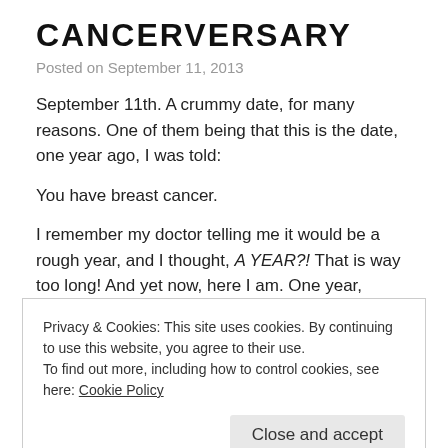CANCERVERSARY
Posted on September 11, 2013
September 11th. A crummy date, for many reasons. One of them being that this is the date, one year ago, I was told:
You have breast cancer.
I remember my doctor telling me it would be a rough year, and I thought, A YEAR?! That is way too long! And yet now, here I am. One year, exactly. A year of
Privacy & Cookies: This site uses cookies. By continuing to use this website, you agree to their use.
To find out more, including how to control cookies, see here: Cookie Policy
Close and accept
but I have cancer. Fuckkkkk. I can't believe I just typed that